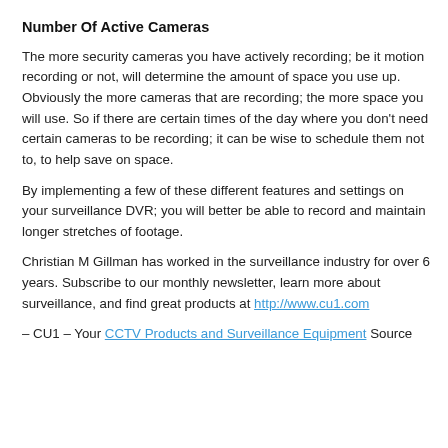Number Of Active Cameras
The more security cameras you have actively recording; be it motion recording or not, will determine the amount of space you use up. Obviously the more cameras that are recording; the more space you will use. So if there are certain times of the day where you don't need certain cameras to be recording; it can be wise to schedule them not to, to help save on space.
By implementing a few of these different features and settings on your surveillance DVR; you will better be able to record and maintain longer stretches of footage.
Christian M Gillman has worked in the surveillance industry for over 6 years. Subscribe to our monthly newsletter, learn more about surveillance, and find great products at http://www.cu1.com
– CU1 – Your CCTV Products and Surveillance Equipment Source